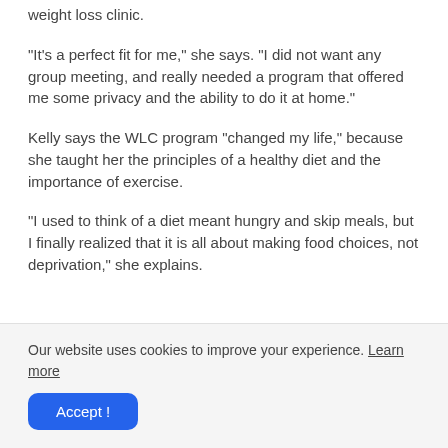weight loss clinic.
"It's a perfect fit for me," she says. "I did not want any group meeting, and really needed a program that offered me some privacy and the ability to do it at home."
Kelly says the WLC program "changed my life," because she taught her the principles of a healthy diet and the importance of exercise.
"I used to think of a diet meant hungry and skip meals, but I finally realized that it is all about making food choices, not deprivation," she explains.
Our website uses cookies to improve your experience. Learn more
Accept !